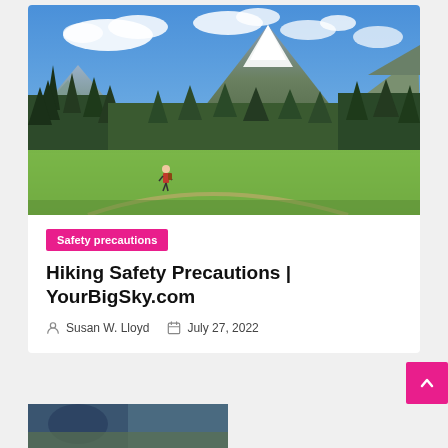[Figure (photo): A hiker on a trail in a mountain meadow with tall pine trees and a snow-capped peak under a blue sky with white clouds.]
Safety precautions
Hiking Safety Precautions | YourBigSky.com
Susan W. Lloyd   July 27, 2022
[Figure (photo): Partial view of another article image at the bottom of the page.]